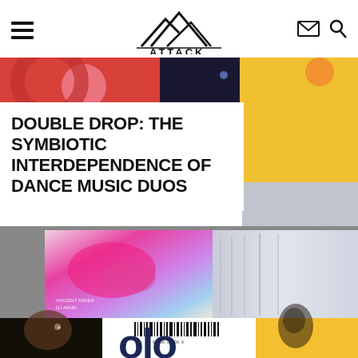ATTACK. — navigation header with hamburger menu, logo, email and search icons
[Figure (photo): Colorful abstract hero image strip with red, pink, dark blue and golden yellow sections]
DOUBLE DROP: THE SYMBIOTIC INTERDEPENDENCE OF DANCE MUSIC DUOS
[Figure (photo): Collage of album covers including a pink marbled artwork with 'VINCENT FADER / DJ ADHD' text, grey layered book pages, a dark close-up portrait, a white barcode artwork, a yellow background with a shadowy face, and large dark blue letters forming 'OVe']